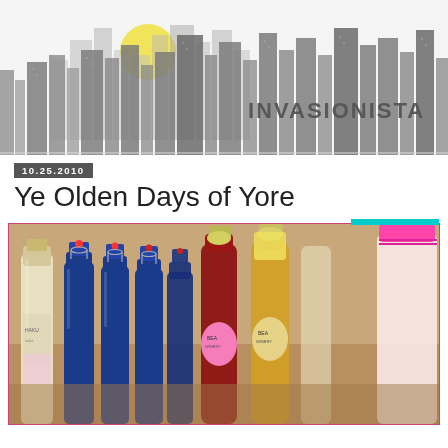[Figure (illustration): Invasionista blog header with illustrated city skyline silhouette in grays, yellow sun, and 'INVASIONISTA' text on the right side]
10.25.2010
Ye Olden Days of Yore
[Figure (photo): Photograph of multiple wine/mead bottles lined up. Several blue glass bottles with wire bail stoppers in the center, flanked by a white wine bottle on the left and two bottles with yellow hexagonal labels and one pink-capped bottle on the right. Labels read 'Bea...' on the bottles.]